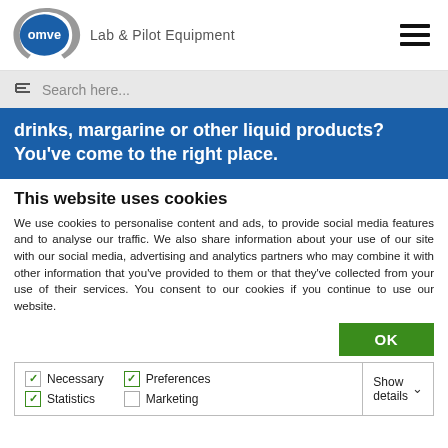[Figure (logo): OMVE Lab & Pilot Equipment logo with circular arrow graphic and text]
Search here...
drinks, margarine or other liquid products? You've come to the right place.
This website uses cookies
We use cookies to personalise content and ads, to provide social media features and to analyse our traffic. We also share information about your use of our site with our social media, advertising and analytics partners who may combine it with other information that you've provided to them or that they've collected from your use of their services. You consent to our cookies if you continue to use our website.
OK
| ✓ Necessary | ✓ Preferences | Show details ∨ |
| ✓ Statistics | ☐ Marketing |  |